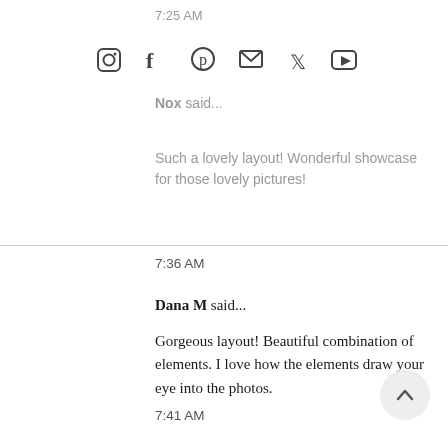7:25 AM
[Figure (other): Social media share icons: Instagram, Facebook, Pinterest, Email, Twitter, YouTube]
Nox said...
Such a lovely layout! Wonderful showcase for those lovely pictures!
7:36 AM
Dana M said...
Gorgeous layout! Beautiful combination of elements. I love how the elements draw your eye into the photos.
7:41 AM
Lindar C said...
Adorable layout!
7:46 AM
Teresa Doyle said...
Such a beautiful layout Raquel, great colours.